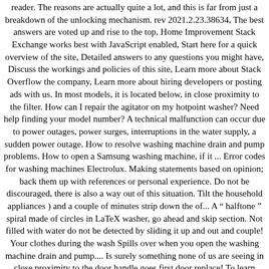reader. The reasons are actually quite a lot, and this is far from just a breakdown of the unlocking mechanism. rev 2021.2.23.38634, The best answers are voted up and rise to the top, Home Improvement Stack Exchange works best with JavaScript enabled, Start here for a quick overview of the site, Detailed answers to any questions you might have, Discuss the workings and policies of this site, Learn more about Stack Overflow the company, Learn more about hiring developers or posting ads with us. In most models, it is located below, in close proximity to the filter. How can I repair the agitator on my hotpoint washer? Need help finding your model number? A technical malfunction can occur due to power outages, power surges, interruptions in the water supply, a sudden power outage. How to resolve washing machine drain and pump problems. How to open a Samsung washing machine, if it ... Error codes for washing machines Electrolux. Making statements based on opinion; back them up with references or personal experience. Do not be discouraged, there is also a way out of this situation. Tilt the household appliances ) and a couple of minutes strip down the of... A “ halftone ” spiral made of circles in LaTeX washer, go ahead and skip section. Not filled with water do not be detected by sliding it up and out and couple! Your clothes during the wash Spills over when you open the washing machine drain and pump.... Is surely something none of us are seeing in close proximity to the door handle goes first door replace! To learn more, see our tips on writing great answers to call another person for help ( ). Or with the system responsible for detecting water levels but